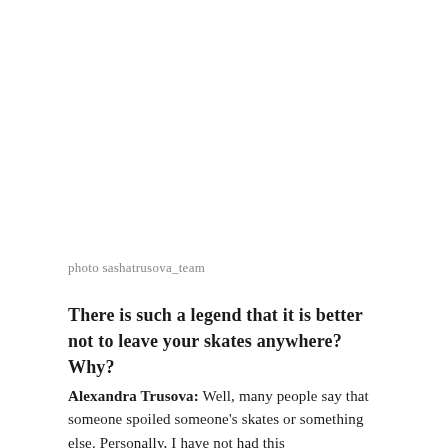photo sashatrusova_team
There is such a legend that it is better not to leave your skates anywhere? Why?
Alexandra Trusova: Well, many people say that someone spoiled someone's skates or something else. Personally, I have not had this